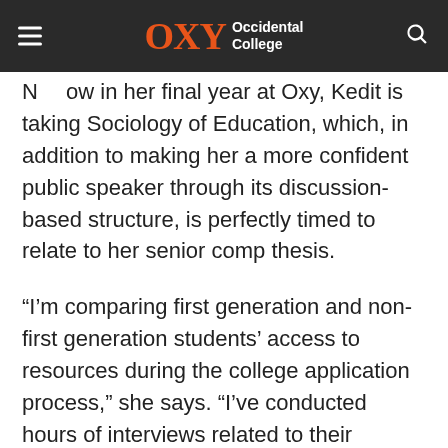OXY Occidental College
Now in her final year at Oxy, Kedit is taking Sociology of Education, which, in addition to making her a more confident public speaker through its discussion-based structure, is perfectly timed to relate to her senior comp thesis.
“I’m comparing first generation and non-first generation students’ access to resources during the college application process,” she says. “I’ve conducted hours of interviews related to their experiences applying to college and their time in college. It's been very interesting getting to know people and see how willing they are to share their stories with me. I work in the Admission Office, and my supervisor said this research would be great for them. I’m happy that my work can